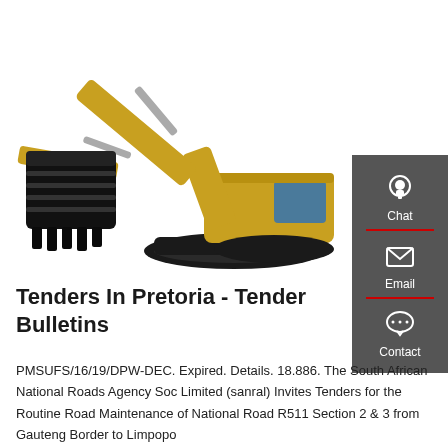[Figure (photo): A large yellow CAT excavator with a black bucket attachment, photographed on a white background.]
Tenders In Pretoria - Tender Bulletins
PMSUFS/16/19/DPW-DEC. Expired. Details. 18.886. The South African National Roads Agency Soc Limited (sanral) Invites Tenders for the Routine Road Maintenance of National Road R511 Section 2 & 3 from Gauteng Border to Limpopo